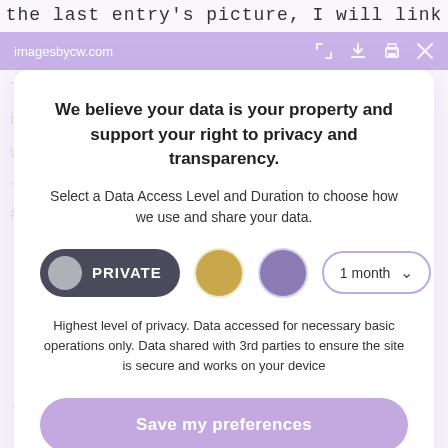the last entry's picture, I will link
imagesbycw.com
We believe your data is your property and support your right to privacy and transparency.
Select a Data Access Level and Duration to choose how we use and share your data.
[Figure (screenshot): Privacy controls row with PRIVATE button (dark pill with grey circle), gold circle button, purple circle button, and 1 month dropdown]
Highest level of privacy. Data accessed for necessary basic operations only. Data shared with 3rd parties to ensure the site is secure and works on your device
Save my preferences
Customize
Privacy policy